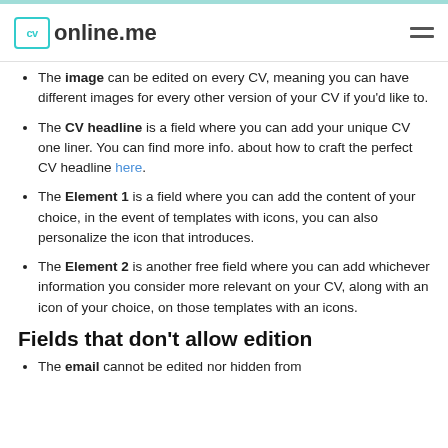cv online.me
The image can be edited on every CV, meaning you can have different images for every other version of your CV if you'd like to.
The CV headline is a field where you can add your unique CV one liner. You can find more info. about how to craft the perfect CV headline here.
The Element 1 is a field where you can add the content of your choice, in the event of templates with icons, you can also personalize the icon that introduces.
The Element 2 is another free field where you can add whichever information you consider more relevant on your CV, along with an icon of your choice, on those templates with an icons.
Fields that don't allow edition
The email cannot be edited nor hidden from